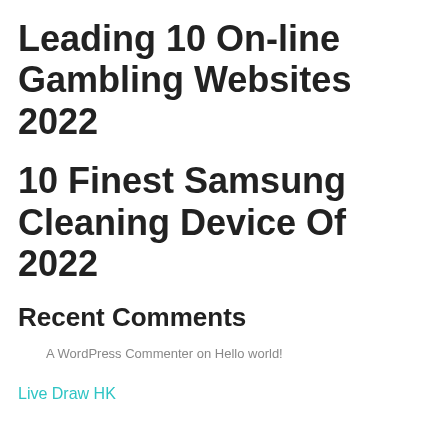Leading 10 On-line Gambling Websites 2022
10 Finest Samsung Cleaning Device Of 2022
Recent Comments
A WordPress Commenter on Hello world!
Live Draw HK